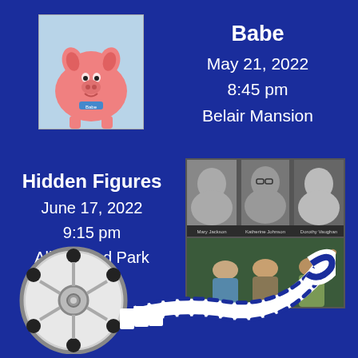[Figure (photo): Photo of Babe the pig (pink piglet) sitting against a light blue background]
Babe
May 21,  2022
8:45 pm
Belair Mansion
Hidden Figures
June 17, 2022
9:15 pm
Allen Pond Park
[Figure (photo): Collage image for Hidden Figures movie: top row shows black-and-white portraits of three women (Mary Jackson, Katherine Johnson, Dorothy Vaughan), bottom row shows three actresses from the film standing together]
[Figure (illustration): Film reel illustration with a curling strip of film extending to the right]